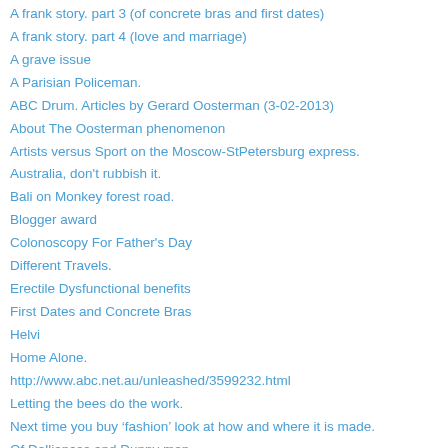A frank story. part 3 (of concrete bras and first dates)
A frank story. part 4 (love and marriage)
A grave issue
A Parisian Policeman.
ABC Drum. Articles by Gerard Oosterman (3-02-2013)
About The Oosterman phenomenon
Artists versus Sport on the Moscow-StPetersburg express.
Australia, don't rubbish it.
Bali on Monkey forest road.
Blogger award
Colonoscopy For Father's Day
Different Travels.
Erectile Dysfunctional benefits
First Dates and Concrete Bras
Helvi
Home Alone.
http://www.abc.net.au/unleashed/3599232.html
Letting the bees do the work.
Next time you buy ‘fashion’ look at how and where it is made.
Of Dalliances and Dunny men.